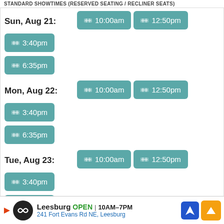STANDARD SHOWTIMES (RESERVED SEATING / RECLINER SEATS)
Sun, Aug 21: 10:00am  12:50pm  3:40pm  6:35pm
Mon, Aug 22: 10:00am  12:50pm  3:40pm  6:35pm
Tue, Aug 23: 10:00am  12:50pm  3:40pm  6:35pm
Wed, Aug 24: 10:00am  12:50pm  3:40pm  6:35pm
DR. NO 60TH ANNIVERSARY
Rate Movie | Write a Review
Action, Other
Leesburg OPEN 10AM–7PM 241 Fort Evans Rd NE, Leesburg